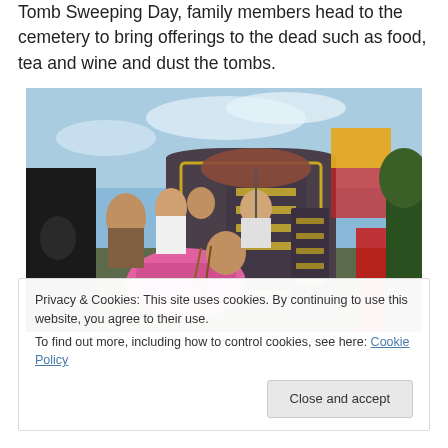Tomb Sweeping Day, family members head to the cemetery to bring offerings to the dead such as food, tea and wine and dust the tombs.
[Figure (photo): People gathered around a Chinese tombstone/gravestone with Chinese characters, one person leaning down to make offerings. Others stand behind with umbrellas. Blue sky in background.]
Privacy & Cookies: This site uses cookies. By continuing to use this website, you agree to their use.
To find out more, including how to control cookies, see here: Cookie Policy